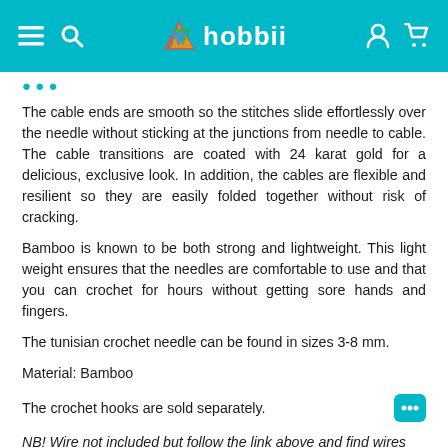hobbii
[partial heading text]
The cable ends are smooth so the stitches slide effortlessly over the needle without sticking at the junctions from needle to cable. The cable transitions are coated with 24 karat gold for a delicious, exclusive look. In addition, the cables are flexible and resilient so they are easily folded together without risk of cracking.
Bamboo is known to be both strong and lightweight. This light weight ensures that the needles are comfortable to use and that you can crochet for hours without getting sore hands and fingers.
The tunisian crochet needle can be found in sizes 3-8 mm.
Material: Bamboo
The crochet hooks are sold separately.
NB! Wire not included but follow the link above and find wires that are compatible with all interchangeable knitting needles and